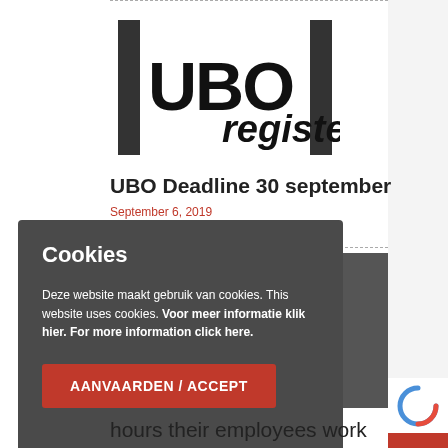[Figure (logo): UBO register logo with bold 'UBO' text and italic 'register' text, flanked by two vertical black bars]
UBO Deadline 30 september
September 6, 2019
Cookies
Deze website maakt gebruik van cookies. This website uses cookies. Voor meer informatie klik hier. For more information click here.
AANVAARDEN / ACCEPT
hours their employees work